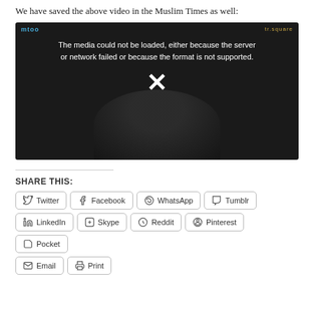We have saved the above video in the Muslim Times as well:
[Figure (screenshot): Embedded video player showing an error message: 'The media could not be loaded, either because the server or network failed or because the format is not supported.' with a white X icon overlay on a dark background showing a partially visible person.]
SHARE THIS:
Twitter
Facebook
WhatsApp
Tumblr
LinkedIn
Skype
Reddit
Pinterest
Pocket
Email
Print